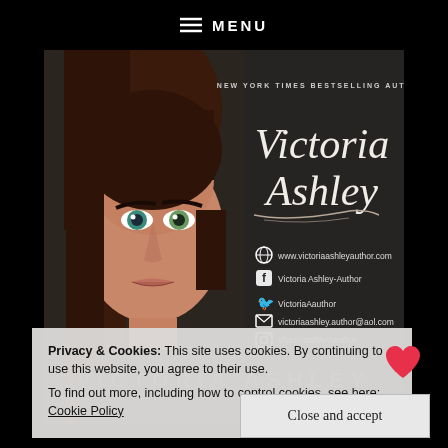≡ MENU
[Figure (photo): Author banner image for Victoria Ashley, New York Times Bestselling Author. Shows a young woman with long brown hair and blue-green eyes on the left half, and on the right a dark textured background with the author's name in cursive script, website, Facebook, Twitter, email, and Instagram contact details.]
Privacy & Cookies: This site uses cookies. By continuing to use this website, you agree to their use.
To find out more, including how to control cookies, see here: Cookie Policy
Close and accept